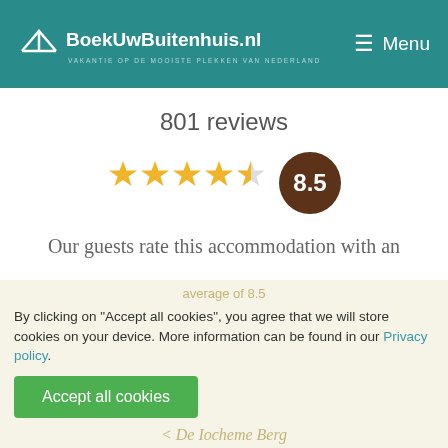BoekUwBuitenhuis.nl — VAKANTIE OP DE MOOISTE PLEKKEN VAN NEDERLAND | Menu
801 reviews
[Figure (infographic): 4 filled gold stars and 1 half-filled star, with a dark brown circle badge showing 8.5]
Our guests rate this accommodation with an average of 8.5
By clicking on "Accept all cookies", you agree that we will store cookies on your device. More information can be found in our Privacy policy.
Accept all cookies
De Iocheme Berg